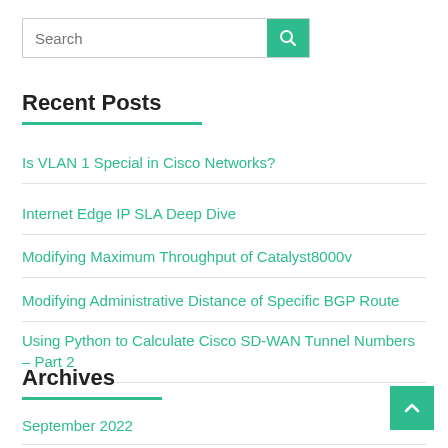[Figure (other): Search bar with text input and green search button with magnifying glass icon]
Recent Posts
Is VLAN 1 Special in Cisco Networks?
Internet Edge IP SLA Deep Dive
Modifying Maximum Throughput of Catalyst8000v
Modifying Administrative Distance of Specific BGP Route
Using Python to Calculate Cisco SD-WAN Tunnel Numbers – Part 2
Archives
September 2022